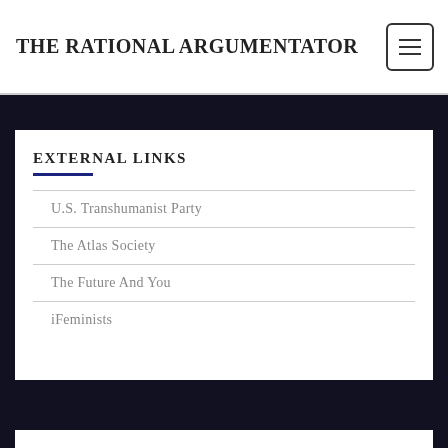THE RATIONAL ARGUMENTATOR
EXTERNAL LINKS
U.S. Transhumanist Party
The Atlas Society
The Future And You
iFeminists